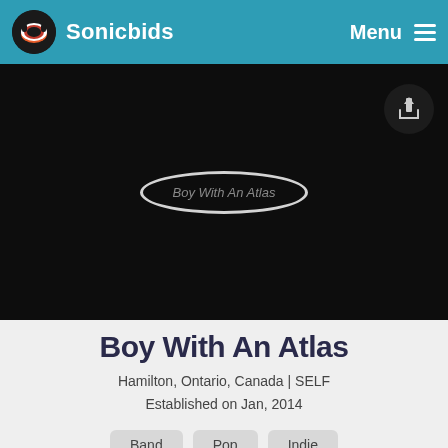Sonicbids
[Figure (screenshot): Dark hero banner with an oval/spotlight highlighting a band image placeholder labeled 'Boy With An Atlas', and a share/export button icon in the top-right corner of the banner.]
Boy With An Atlas
Hamilton, Ontario, Canada | SELF
Established on Jan, 2014
Band
Pop
Indie